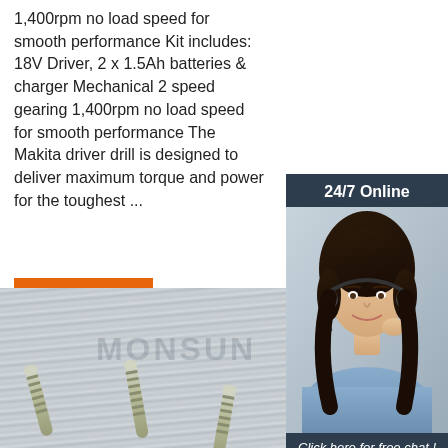1,400rpm no load speed for smooth performance Kit includes: 18V Driver, 2 x 1.5Ah batteries & charger Mechanical 2 speed gearing 1,400rpm no load speed for smooth performance The Makita driver drill is designed to deliver maximum torque and power for the toughest ...
[Figure (infographic): Orange 'Get Price' button]
[Figure (infographic): 24/7 Online chat widget sidebar with photo of customer service agent and orange QUOTATION button]
[Figure (photo): Product photo showing metallic screws on brushed metal surface with MONSUN watermark]